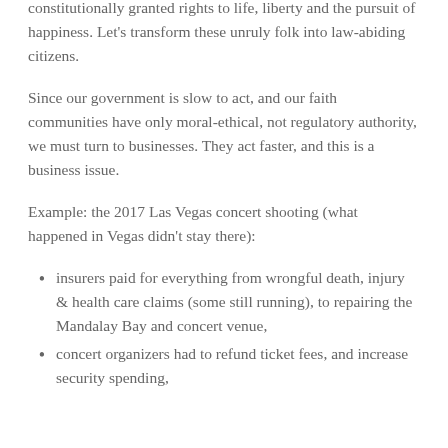constitutionally granted rights to life, liberty and the pursuit of happiness. Let's transform these unruly folk into law-abiding citizens.
Since our government is slow to act, and our faith communities have only moral-ethical, not regulatory authority, we must turn to businesses. They act faster, and this is a business issue.
Example: the 2017 Las Vegas concert shooting (what happened in Vegas didn't stay there):
insurers paid for everything from wrongful death, injury & health care claims (some still running), to repairing the Mandalay Bay and concert venue,
concert organizers had to refund ticket fees, and increase security spending,